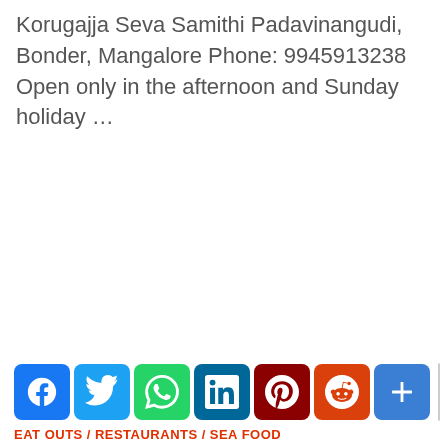Korugajja Seva Samithi Padavinangudi, Bonder, Mangalore Phone: 9945913238 Open only in the afternoon and Sunday holiday …
[Figure (other): Social media sharing buttons row: Facebook (blue), Twitter (light blue), WhatsApp (green), LinkedIn (dark teal), Pinterest (dark red), Reddit (orange-red), Share/more (blue with plus icon), and a blank/grey button. Below the buttons are tag links: EAT OUTS / RESTAURANTS / SEA FOOD in red uppercase.]